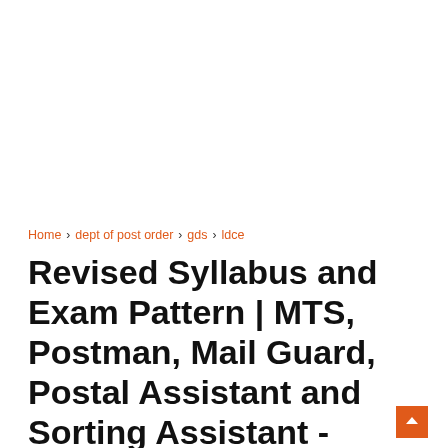Home > dept of post order > gds > ldce
Revised Syllabus and Exam Pattern | MTS, Postman, Mail Guard, Postal Assistant and Sorting Assistant - Deptt. of Posts
0   paramnewsteam   Sunday, 19 May 2019